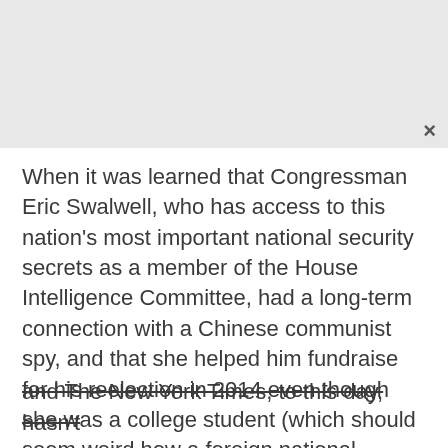[Figure (other): Gray placeholder image area at the top of the page]
When it was learned that Congressman Eric Swalwell, who has access to this nation's most important national security secrets as a member of the House Intelligence Committee, had a long-term connection with a Chinese communist spy, and that she helped him fundraise for his reelection in 2014 even though she was a college student (which should seem weird how a foreign national college student could have enough contacts to be a political money bundler), the networks barely touched the
and The New York Times, to this day, hasn't